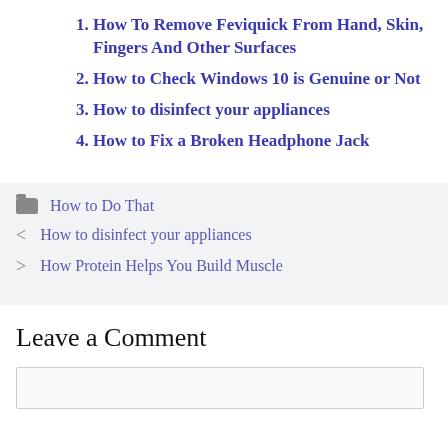1. How To Remove Feviquick From Hand, Skin, Fingers And Other Surfaces
2. How to Check Windows 10 is Genuine or Not
3. How to disinfect your appliances
4. How to Fix a Broken Headphone Jack
📁 How to Do That
< How to disinfect your appliances
> How Protein Helps You Build Muscle
Leave a Comment